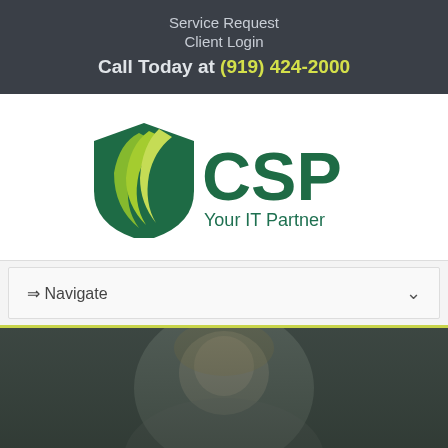Service Request
Client Login
Call Today at (919) 424-2000
[Figure (logo): CSP Your IT Partner logo — green shield with leaf shapes on left, bold green CSP text on right, tagline 'Your IT Partner' below in dark green]
⇒ Navigate
[Figure (photo): Smiling blonde woman in dark overlay background]
Privacy & Security: How